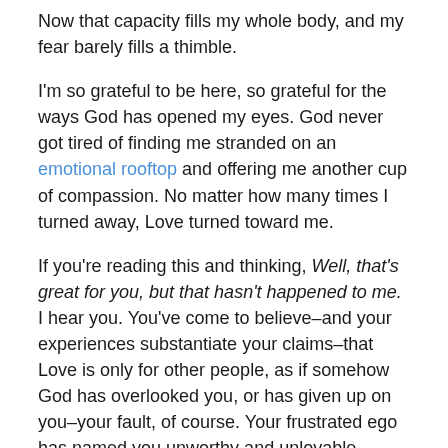Now that capacity fills my whole body, and my fear barely fills a thimble.
I'm so grateful to be here, so grateful for the ways God has opened my eyes. God never got tired of finding me stranded on an emotional rooftop and offering me another cup of compassion. No matter how many times I turned away, Love turned toward me.
If you're reading this and thinking, Well, that's great for you, but that hasn't happened to me. I hear you. You've come to believe–and your experiences substantiate your claims–that Love is only for other people, as if somehow God has overlooked you, or has given up on you–your fault, of course. Your frustrated ego has named you unworthy and unlovable.